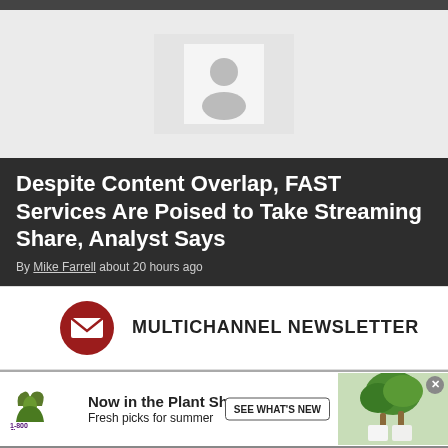[Figure (illustration): Gray placeholder hero image with a white card and person silhouette icon in the center]
Despite Content Overlap, FAST Services Are Poised to Take Streaming Share, Analyst Says
By Mike Farrell about 20 hours ago
[Figure (logo): Multichannel Newsletter icon — dark red circle with white envelope, followed by MULTICHANNEL NEWSLETTER text]
[Figure (photo): 1-800-Flowers.com advertisement: Now in the Plant Shop, Fresh picks for summer, with a plant photo and SEE WHAT'S NEW button]